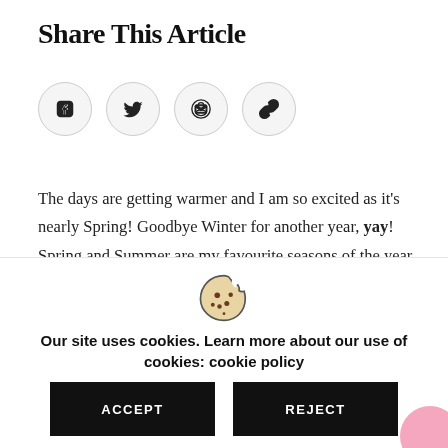Share This Article
[Figure (infographic): Four circular icon buttons: Facebook (f), Twitter (bird), Email (envelope), Link (chain link)]
The days are getting warmer and I am so excited as it's nearly Spring! Goodbye Winter for another year, yay! Spring and Summer are my favourite seasons of the year as I love all things colourful, happy and the warm (ish) weather (living in England, I can hope right?). With Spring on the way I decided I'd bring you a Spring homeware wishlist, followed by some Spring shop my style posts. Since living in my own house, I am obsessed with buying
[Figure (illustration): Cookie icon (chocolate chip cookie with a bite taken out)]
Our site uses cookies. Learn more about our use of cookies: cookie policy
ACCEPT    REJECT